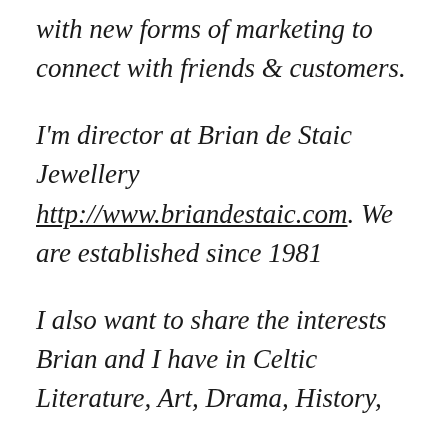with new forms of marketing to connect with friends & customers.
I'm director at Brian de Staic Jewellery http://www.briandestaic.com. We are established since 1981
I also want to share the interests Brian and I have in Celtic Literature, Art, Drama, History,